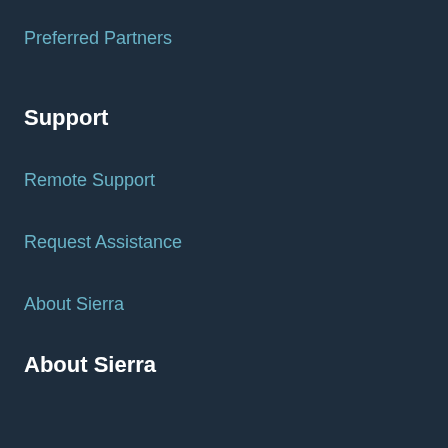Preferred Partners
Support
Remote Support
Request Assistance
About Sierra
About Sierra
Blog
Sierra's Resume, Research & Privacy Policy
Contact